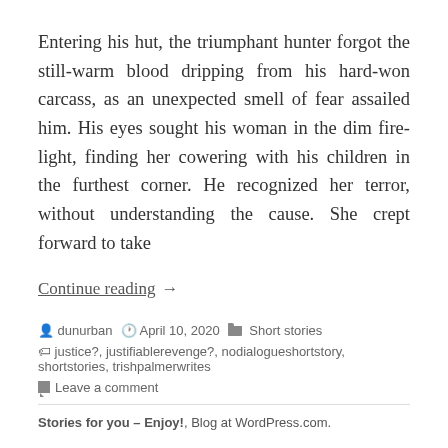Entering his hut, the triumphant hunter forgot the still-warm blood dripping from his hard-won carcass, as an unexpected smell of fear assailed him. His eyes sought his woman in the dim fire-light, finding her cowering with his children in the furthest corner. He recognized her terror, without understanding the cause. She crept forward to take
Continue reading →
dunurban   April 10, 2020   Short stories
justice?, justifiablerevenge?, nodialogueshortstory, shortstories, trishpalmerwrites
Leave a comment
Stories for you – Enjoy!, Blog at WordPress.com.